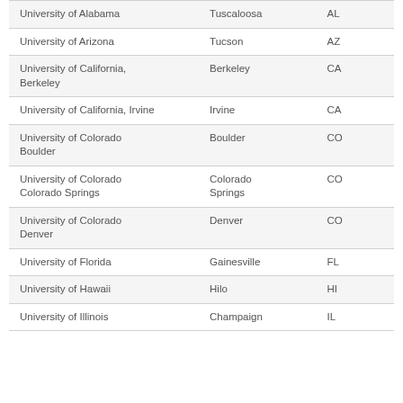| University of Alabama | Tuscaloosa | AL |
| University of Arizona | Tucson | AZ |
| University of California, Berkeley | Berkeley | CA |
| University of California, Irvine | Irvine | CA |
| University of Colorado Boulder | Boulder | CO |
| University of Colorado Colorado Springs | Colorado Springs | CO |
| University of Colorado Denver | Denver | CO |
| University of Florida | Gainesville | FL |
| University of Hawaii | Hilo | HI |
| University of Illinois | Champaign | IL |